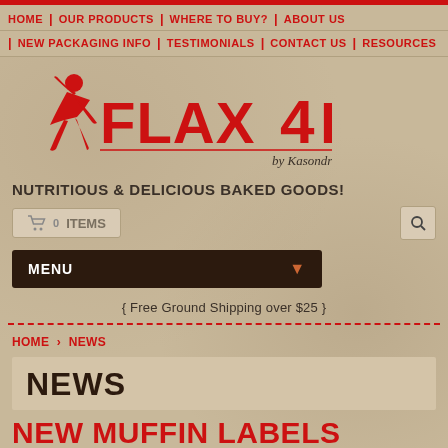HOME | OUR PRODUCTS | WHERE TO BUY? | ABOUT US
NEW PACKAGING INFO | TESTIMONIALS | CONTACT US | RESOURCES
[Figure (logo): Flax 4 Life by Kasondra logo with running figure silhouette in red]
NUTRITIOUS & DELICIOUS BAKED GOODS!
🛒 0 ITEMS
MENU ▾
{ Free Ground Shipping over $25 }
HOME › NEWS
NEWS
NEW MUFFIN LABELS